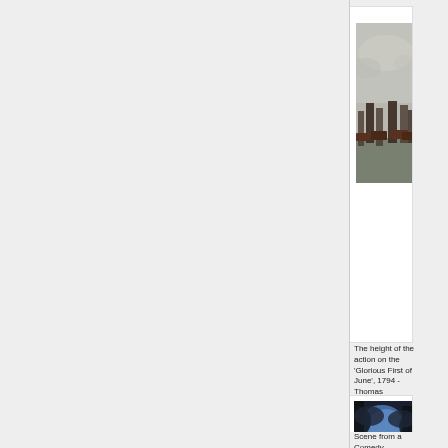[Figure (photo): Painting of a naval battle scene 'The height of the action on the Glorious First of June, 1794' by Thomas Whitcombe, showing sailing warships on the sea with smoky sky]
The height of the action on the 'Glorious First of June', 1794 - Thomas Whitcombe
[Figure (photo): Dark dramatic painting 'Scene from a Comedy' by Asensio Juliá, showing a figure kneeling in a storm-lit landscape with dark clouds and blue moonlight]
Scene from a Comedy - Asensio Juliá